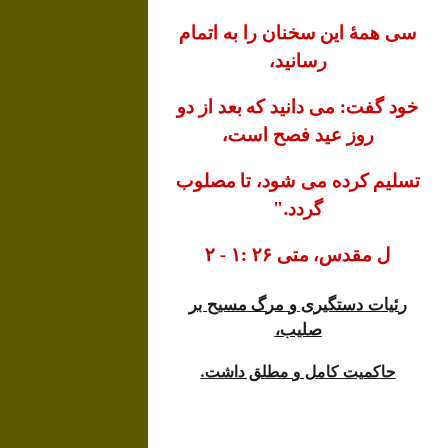سی همهٔ این سخنان را به اتمام رسانید،
خود گفت: می دانید که بعد از دو روز عید فصح است،
تسلیم کرده می شود، تا مصلوب گردد."
ل مقدس، متی ۲۶ :۱ - ۲
رئیات دستگیری و مرگ مسیح بر صلیب،
حاکمیت کامل و مطلق داشت.